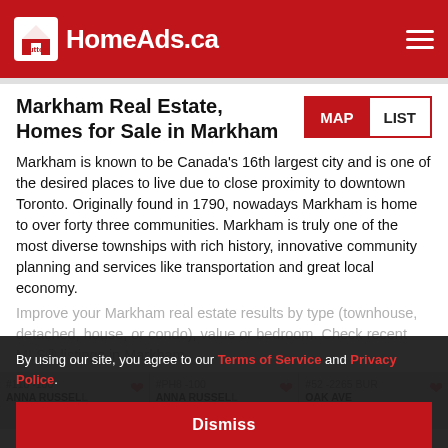HomeAds.ca
Markham Real Estate, Homes for Sale in Markham
Markham is known to be Canada's 16th largest city and is one of the desired places to live due to close proximity to downtown Toronto. Originally found in 1790, nowadays Markham is home to over forty three communities. Markham is truly one of the most diverse townships with rich history, innovative community planning and services like transportation and great local economy.
Improve your Markham real estate results by type (townhouse, detached, house, or condo), value or bedroom. Check recent MLS® listings in Markham.
[Figure (screenshot): Three real estate listing thumbnails: #110 -100 ANNA RUSSELL, #PH8 -100 ANNA RUSSELL, #52 -2265 BUR OAK AVE, each with a heart icon]
By using our site, you agree to our Terms of Service and Privacy Police.
Dismiss